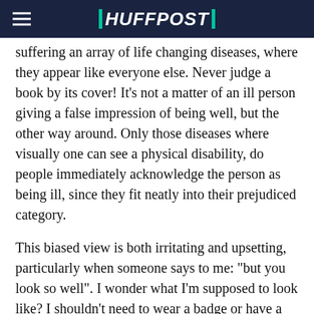HUFFPOST
suffering an array of life changing diseases, where they appear like everyone else. Never judge a book by its cover! It's not a matter of an ill person giving a false impression of being well, but the other way around. Only those diseases where visually one can see a physical disability, do people immediately acknowledge the person as being ill, since they fit neatly into their prejudiced category.
This biased view is both irritating and upsetting, particularly when someone says to me: "but you look so well". I wonder what I'm supposed to look like? I shouldn't need to wear a badge or have a neon sign above my head, indicating how I suffer daily, am in